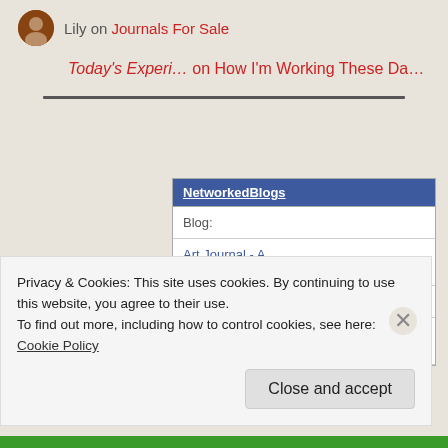Lily on Journals For Sale
Today's Experi… on How I'm Working These Da…
| NetworkedBlogs |
| --- |
| Blog: |
| Art Journal - A Creative Journey |
| Topics: |
| Textile Art, Art, Dyeing |
Privacy & Cookies: This site uses cookies. By continuing to use this website, you agree to their use.
To find out more, including how to control cookies, see here: Cookie Policy
Close and accept